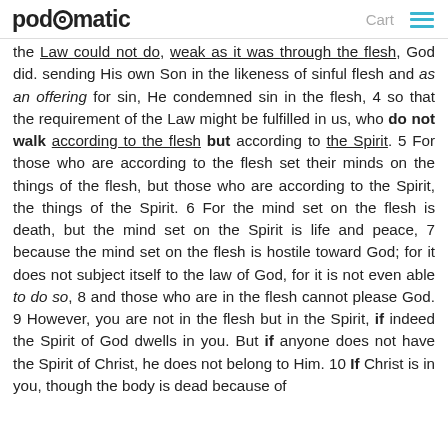podomatic  Cart
the Law could not do, weak as it was through the flesh, God did. sending His own Son in the likeness of sinful flesh and as an offering for sin, He condemned sin in the flesh, 4 so that the requirement of the Law might be fulfilled in us, who do not walk according to the flesh but according to the Spirit. 5 For those who are according to the flesh set their minds on the things of the flesh, but those who are according to the Spirit, the things of the Spirit. 6 For the mind set on the flesh is death, but the mind set on the Spirit is life and peace, 7 because the mind set on the flesh is hostile toward God; for it does not subject itself to the law of God, for it is not even able to do so, 8 and those who are in the flesh cannot please God. 9 However, you are not in the flesh but in the Spirit, if indeed the Spirit of God dwells in you. But if anyone does not have the Spirit of Christ, he does not belong to Him. 10 If Christ is in you, though the body is dead because of